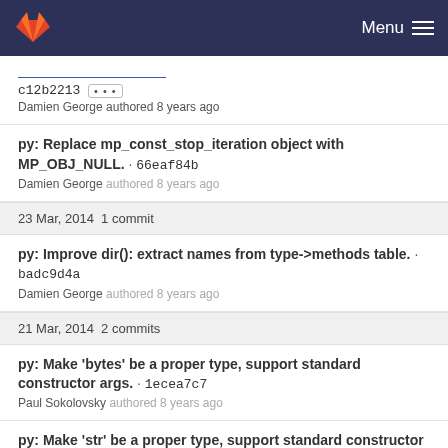GitLab — Menu
c12b2213 [...] Damien George authored 8 years ago
py: Replace mp_const_stop_iteration object with MP_OBJ_NULL. · 66eaf84b
Damien George authored 8 years ago
23 Mar, 2014 1 commit
py: Improve dir(): extract names from type->methods table. · badc9d4a
Damien George authored 8 years ago
21 Mar, 2014 2 commits
py: Make 'bytes' be a proper type, support standard constructor args. · 1ecea7c7
Paul Sokolovsky authored 8 years ago
py: Make 'str' be a proper type, support standard constructor